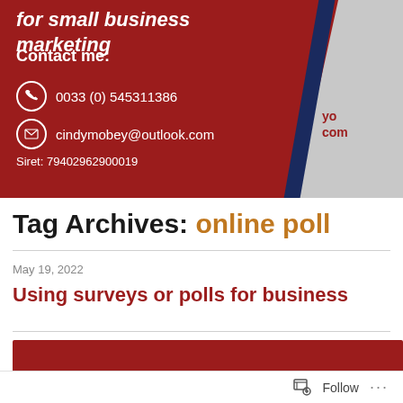for small business marketing
Contact me:
0033 (0) 545311386
cindymobey@outlook.com
Siret: 79402962900019
Tag Archives: online poll
May 19, 2022
Using surveys or polls for business
[Figure (other): Red banner image strip at bottom of post]